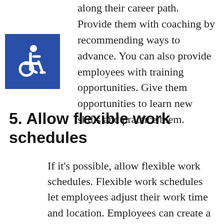along their career path. Provide them with coaching by recommending ways to advance. You can also provide employees with training opportunities. Give them opportunities to learn new skills and practice them.
[Figure (illustration): Accessibility icon — white wheelchair symbol on blue square background]
5. Allow flexible work schedules
If it's possible, allow flexible work schedules. Flexible work schedules let employees adjust their work time and location. Employees can create a work-life balance for themselves. Your workers can pursue things beyond